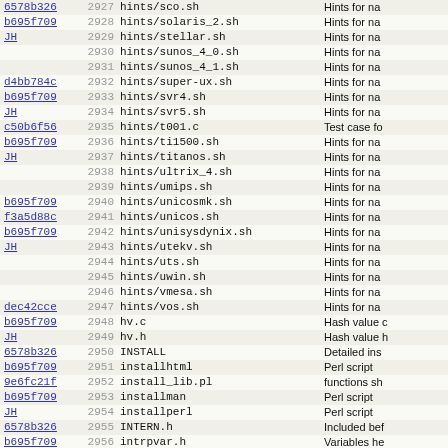| hash | num | file | description |
| --- | --- | --- | --- |
| 6578b326 | 2927 | hints/sco.sh | Hints for na |
| b695f709 | 2928 | hints/solaris_2.sh | Hints for na |
| JH | 2929 | hints/stellar.sh | Hints for na |
|  | 2930 | hints/sunos_4_0.sh | Hints for na |
|  | 2931 | hints/sunos_4_1.sh | Hints for na |
| d4bb784c | 2932 | hints/super-ux.sh | Hints for na |
| b695f709 | 2933 | hints/svr4.sh | Hints for na |
| JH | 2934 | hints/svr5.sh | Hints for na |
| c50b6f56 | 2935 | hints/t001.c | Test case fo |
| b695f709 | 2936 | hints/ti1500.sh | Hints for na |
| JH | 2937 | hints/titanos.sh | Hints for na |
|  | 2938 | hints/ultrix_4.sh | Hints for na |
|  | 2939 | hints/umips.sh | Hints for na |
| b695f709 | 2940 | hints/unicosmk.sh | Hints for na |
| f3a5d88c | 2941 | hints/unicos.sh | Hints for na |
| b695f709 | 2942 | hints/unisysdynix.sh | Hints for na |
| JH | 2943 | hints/utekv.sh | Hints for na |
|  | 2944 | hints/uts.sh | Hints for na |
|  | 2945 | hints/uwin.sh | Hints for na |
|  | 2946 | hints/vmesa.sh | Hints for na |
| dec42cce | 2947 | hints/vos.sh | Hints for na |
| b695f709 | 2948 | hv.c | Hash value c |
| JH | 2949 | hv.h | Hash value h |
| 6578b326 | 2950 | INSTALL | Detailed ins |
| b695f709 | 2951 | installhtml | Perl script |
| 9e6fc21f | 2952 | install_lib.pl | functions sh |
| b695f709 | 2953 | installman | Perl script |
| JH | 2954 | installperl | Perl script |
| 6578b326 | 2955 | INTERN.h | Included bef |
| b695f709 | 2956 | intrpvar.h | Variables he |
| JH | 2957 | iperlsys.h | Perl's inter |
| 6578b326 | 2958 | keywords.h | The keyword |
| JH | 2959 | keywords.pl |  |